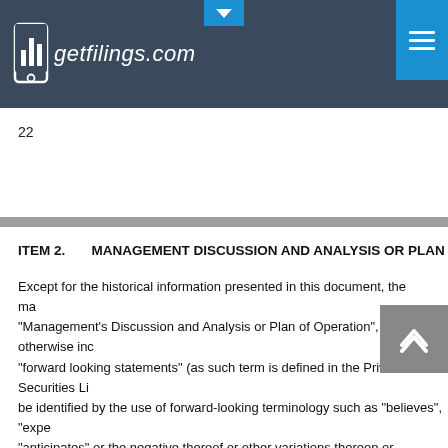getfilings.com
22
ITEM 2.   MANAGEMENT DISCUSSION AND ANALYSIS OR PLAN O...
Except for the historical information presented in this document, the matters discussed in "Management's Discussion and Analysis or Plan of Operation", or otherwise incorporated by reference constitute "forward looking statements" (as such term is defined in the Private Securities Li... be identified by the use of forward-looking terminology such as "believes", "expe... "anticipates" or the negative thereof or other variations thereon or comparable te... risks and uncertainties. The safe harbor provisions of Section 21E of the Securiti...